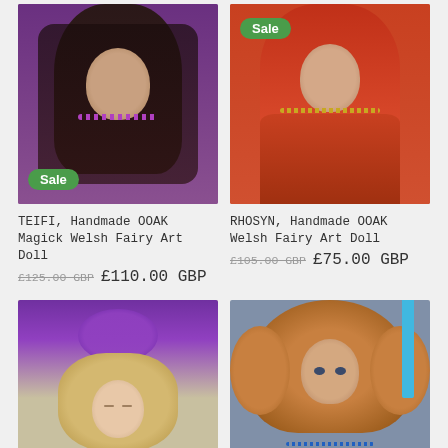[Figure (photo): Handmade fairy art doll named TEIFI with long dark hair, purple beaded necklace, spiral pendant, wearing purple, with green Sale badge]
[Figure (photo): Handmade fairy art doll named RHOSYN with curly red hair, gold bead necklace, orange/red outfit, with green Sale badge]
TEIFI, Handmade OOAK Magick Welsh Fairy Art Doll
£125.00 GBP  £110.00 GBP
RHOSYN, Handmade OOAK Welsh Fairy Art Doll
£105.00 GBP  £75.00 GBP
[Figure (photo): Handmade fairy art doll with blonde curly hair, purple hat/ribbon accessory, eyes closed, peaceful expression]
[Figure (photo): Handmade fairy art doll with orange/auburn fluffy hair, blue necklace, expressive eyes, blue ribbon at top]